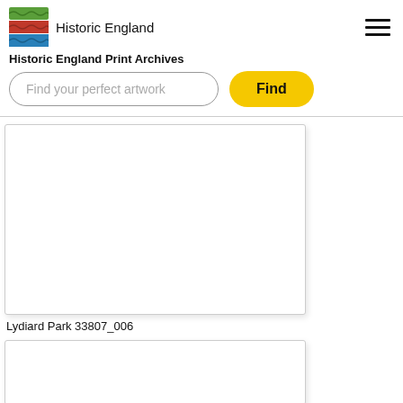[Figure (logo): Historic England logo with green, red, and blue wave stripes and text 'Historic England']
Historic England Print Archives
Find your perfect artwork
Find
[Figure (photo): Blank white image card placeholder]
Lydiard Park 33807_006
[Figure (photo): Blank white image card placeholder second item]